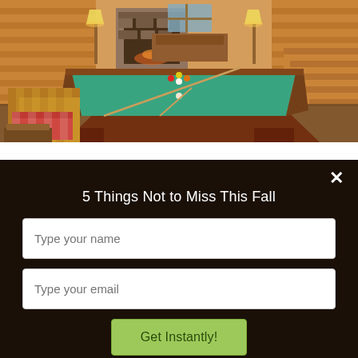[Figure (photo): Interior photo of a log cabin with a green felt pool/billiards table in the center foreground, wicker chairs to the left, a stone fireplace in the background, warm lamp lighting, and wooden stairs on the right side.]
5 Things Not to Miss This Fall
Type your name
Type your email
Get Instantly!